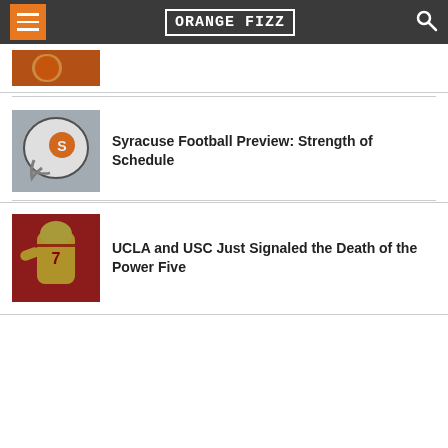ORANGE FIZZ
[Figure (photo): Partial view of a Syracuse-related image, cropped at top]
[Figure (photo): Syracuse football helmet with orange S logo on white helmet]
Syracuse Football Preview: Strength of Schedule
[Figure (photo): Football player in red/yellow USC uniform, number 7, in action]
UCLA and USC Just Signaled the Death of the Power Five